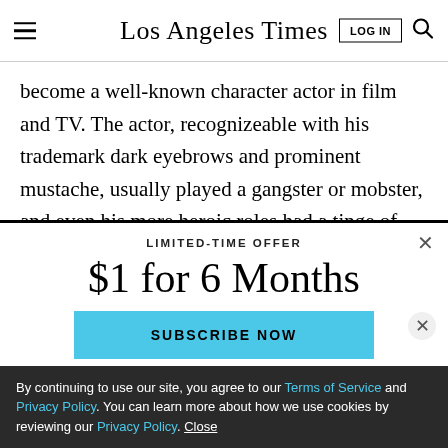Los Angeles Times
become a well-known character actor in film and TV. The actor, recognizeable with his trademark dark eyebrows and prominent mustache, usually played a gangster or mobster, and even his more heroic roles had a tinge of menace to them.
LIMITED-TIME OFFER
$1 for 6 Months
SUBSCRIBE NOW
By continuing to use our site, you agree to our Terms of Service and Privacy Policy. You can learn more about how we use cookies by reviewing our Privacy Policy. Close